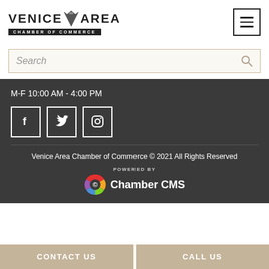[Figure (logo): Venice Area Chamber of Commerce logo with shark tooth icon and text]
[Figure (other): Hamburger menu button (three horizontal lines in a square border)]
Search
M-F 10:00 AM - 4:00 PM
[Figure (other): Social media icons: Facebook, Twitter, Instagram in white-bordered square boxes]
Venice Area Chamber of Commerce © 2021 All Rights Reserved
[Figure (logo): Powered by Chamber CMS logo with colorful circular icon]
CONTACT US
CALL US